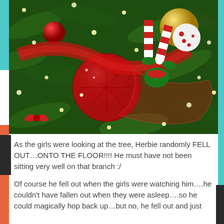[Figure (photo): Close-up photograph of a decorated Christmas tree with an elf figurine (Herbie) wearing striped legs/socks, surrounded by large red ornamental balls, gold ornaments, red ribbons, mesh ribbon, and twinkling lights.]
As the girls were looking at the tree, Herbie randomly FELL OUT…ONTO THE FLOOR!!!! He must have not been sitting very well on that branch :/
Of course he fell out when the girls were watching him….he couldn't have fallen out when they were asleep….so he could magically hop back up…but no, he fell out and just